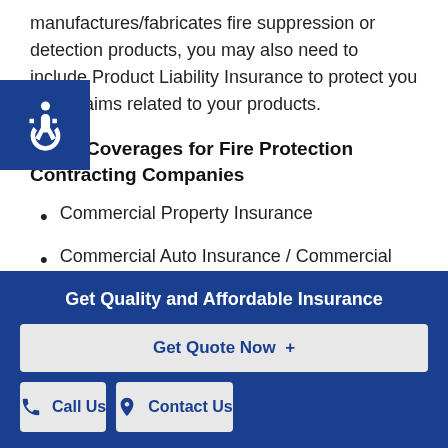manufactures/fabricates fire suppression or detection products, you may also need to include Product Liability Insurance to protect you from claims related to your products.
Other Coverages for Fire Protection Contracting Companies
Commercial Property Insurance
Commercial Auto Insurance / Commercial
Get Quality and Affordable Insurance
Get Quote Now +
Call Us
Contact Us